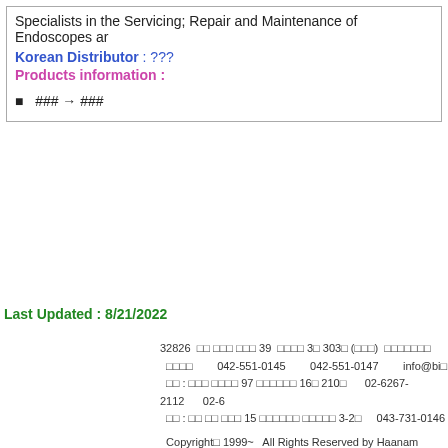Specialists in the Servicing; Repair and Maintenance of Endoscopes ar
Korean Distributor : ???
Products information :
### → ###
Last Updated : 8/21/2022
32826  □□ □□□ □□□ 39  □□□□ 3□ 303□ (□□□)  □□□□□□□  □□□□  042-551-0145  042-551-0147  info@bi  □□ : □□□ □□□□ 97 □□□□□□ 16□ 210□  02-6267-2112  02-6  □□ : □□ □□ □□□ 15 □□□□□□ □□□□□ 3-2□  043-731-0146  Copyright□ 1999~  All Rights Reserved by Haanam Science